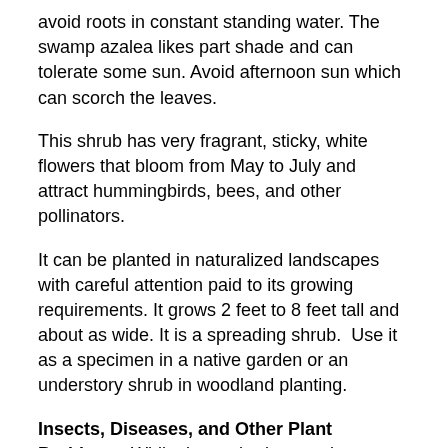avoid roots in constant standing water. The swamp azalea likes part shade and can tolerate some sun. Avoid afternoon sun which can scorch the leaves.
This shrub has very fragrant, sticky, white flowers that bloom from May to July and attract hummingbirds, bees, and other pollinators.
It can be planted in naturalized landscapes with careful attention paid to its growing requirements. It grows 2 feet to 8 feet tall and about as wide. It is a spreading shrub.  Use it as a specimen in a native garden or an understory shrub in woodland planting.
Insects, Diseases, and Other Plant Problems: While these shrubs remain very popular for landscape use, many cultivars are susceptible to Phytophthora root rot—this leads to leaf loss, reduced vigor, branch dieback, and wilting. Implement good cultural practices first, such as improving drainage with organic matter or berms and